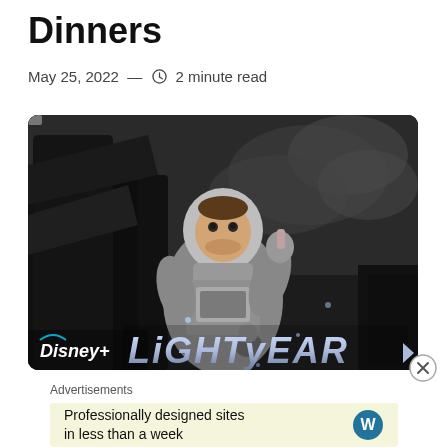Dinners
May 25, 2022 — ⏱ 2 minute read
[Figure (photo): Disney+ Lightyear promotional image showing Buzz Lightyear animated character in a spacesuit inside a spacecraft cockpit, in black and white. Disney+ Lightyear logo visible at bottom.]
Advertisements
Professionally designed sites in less than a week